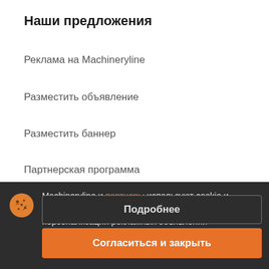Наши предложения
Реклама на Machineryline
Разместить объявление
Разместить баннер
Партнерская программа
Для дилеров
Machineryline и партнеры используют cookie и собирают информацию о визитах на этот сайт для персонализации рекламных объявлений
Подробнее
Согласиться и закрыть